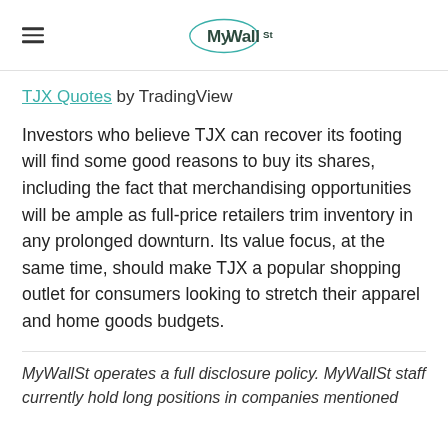MyWallSt
TJX Quotes by TradingView
Investors who believe TJX can recover its footing will find some good reasons to buy its shares, including the fact that merchandising opportunities will be ample as full-price retailers trim inventory in any prolonged downturn. Its value focus, at the same time, should make TJX a popular shopping outlet for consumers looking to stretch their apparel and home goods budgets.
MyWallSt operates a full disclosure policy. MyWallSt staff currently hold long positions in companies mentioned